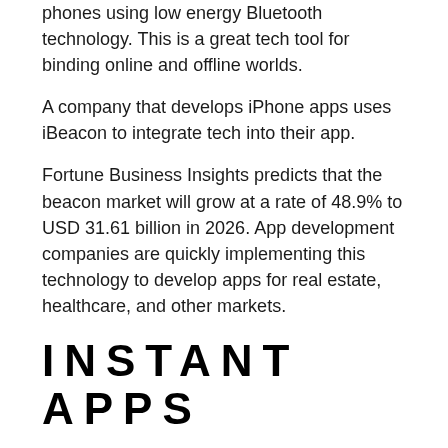phones using low energy Bluetooth technology. This is a great tech tool for binding online and offline worlds.
A company that develops iPhone apps uses iBeacon to integrate tech into their app.
Fortune Business Insights predicts that the beacon market will grow at a rate of 48.9% to USD 31.61 billion in 2026. App development companies are quickly implementing this technology to develop apps for real estate, healthcare, and other markets.
INSTANT APPS
Developers and users are increasingly looking for instant apps. Instant apps offer many benefits, including low storage and website functionality accessibility. This makes them a more advanced version of